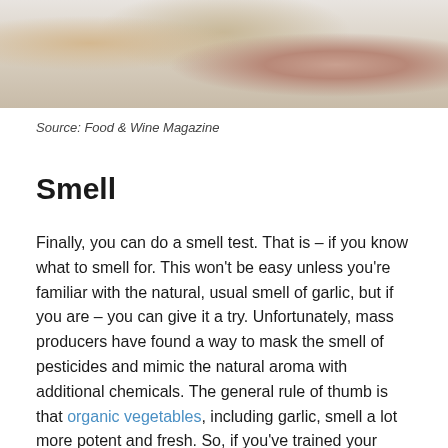[Figure (photo): Garlic cloves and bulbs on a light background, seen from above]
Source: Food & Wine Magazine
Smell
Finally, you can do a smell test. That is – if you know what to smell for. This won't be easy unless you're familiar with the natural, usual smell of garlic, but if you are – you can give it a try. Unfortunately, mass producers have found a way to mask the smell of pesticides and mimic the natural aroma with additional chemicals. The general rule of thumb is that organic vegetables, including garlic, smell a lot more potent and fresh. So, if you've trained your nose and you know what you should expect – you can try this method out.
How To Tell If Garlic's Organic –